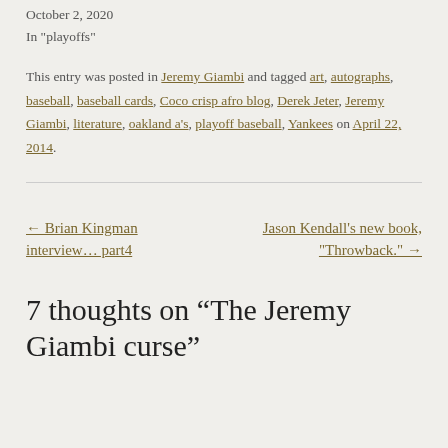October 2, 2020
In "playoffs"
This entry was posted in Jeremy Giambi and tagged art, autographs, baseball, baseball cards, Coco crisp afro blog, Derek Jeter, Jeremy Giambi, literature, oakland a's, playoff baseball, Yankees on April 22, 2014.
← Brian Kingman interview… part4
Jason Kendall's new book, "Throwback." →
7 thoughts on “The Jeremy Giambi curse”